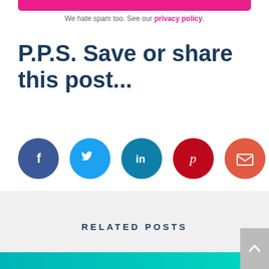[Figure (other): Pink/magenta rounded button or bar at top of page]
We hate spam too. See our privacy policy.
P.P.S. Save or share this post...
[Figure (infographic): Row of five social share icon circles: Facebook (dark blue, f), Twitter (light blue, bird), LinkedIn (teal, in), Pinterest (dark red, p), Email (orange-red, envelope)]
RELATED POSTS
[Figure (other): Partial teal/turquoise image at very bottom, with grey back-to-top button (caret) at bottom right]